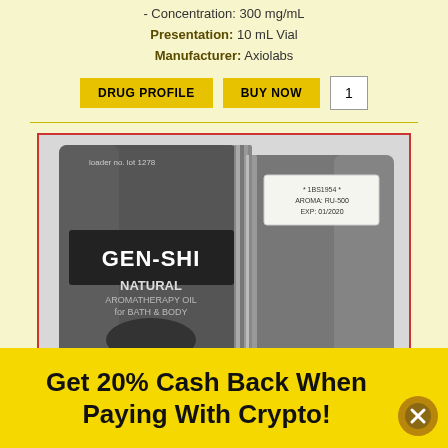- Concentration: 300 mg/mL
Presentation: 10 mL Vial
Manufacturer: Axiolabs
DRUG PROFILE   BUY NOW   1
[Figure (photo): Two GEN-SHI NATURAL AROMATHERAPY OIL FOR BATH & BODY packets - front and back views]
70.00 USD
Boldenone Undecylenate
Get 20% Cash Back When Paying With Crypto!